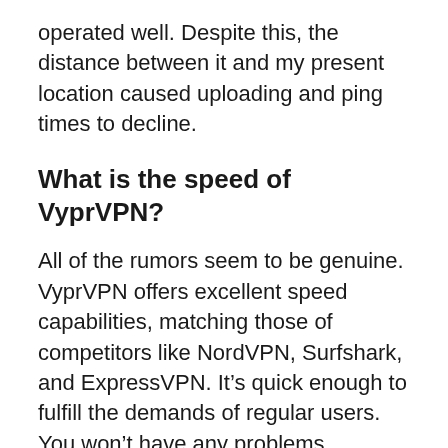operated well. Despite this, the distance between it and my present location caused uploading and ping times to decline.
What is the speed of VyprVPN?
All of the rumors seem to be genuine. VyprVPN offers excellent speed capabilities, matching those of competitors like NordVPN, Surfshark, and ExpressVPN. It’s quick enough to fulfill the demands of regular users. You won’t have any problems connecting as long as you’re linked to a nearby server.
VyprVPN is a must-have for everyone who requires the quickest internet. You will not be